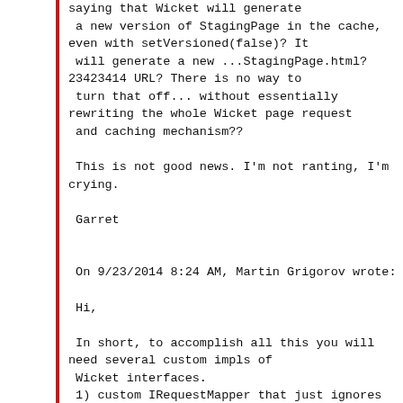saying that Wicket will generate
 a new version of StagingPage in the cache,
even with setVersioned(false)? It
 will generate a new ...StagingPage.html?
23423414 URL? There is no way to
 turn that off... without essentially
rewriting the whole Wicket page request
 and caching mechanism??

 This is not good news. I'm not ranting, I'm
crying.

 Garret


 On 9/23/2014 8:24 AM, Martin Grigorov wrote:

 Hi,

 In short, to accomplish all this you will
need several custom impls of
 Wicket interfaces.
 1) custom IRequestMapper that just ignores
PageInfo when generating the